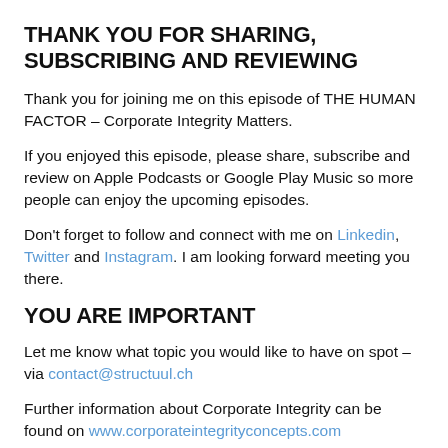THANK YOU FOR SHARING, SUBSCRIBING AND REVIEWING
Thank you for joining me on this episode of THE HUMAN FACTOR – Corporate Integrity Matters.
If you enjoyed this episode, please share, subscribe and review on Apple Podcasts or Google Play Music so more people can enjoy the upcoming episodes.
Don't forget to follow and connect with me on Linkedin, Twitter and Instagram. I am looking forward meeting you there.
YOU ARE IMPORTANT
Let me know what topic you would like to have on spot – via contact@structuul.ch
Further information about Corporate Integrity can be found on www.corporateintegrityconcepts.com